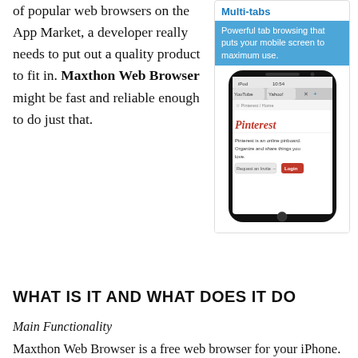of popular web browsers on the App Market, a developer really needs to put out a quality product to fit in. Maxthon Web Browser might be fast and reliable enough to do just that.
[Figure (screenshot): Multi-tabs feature card showing a smartphone displaying the Pinterest website with multi-tab browsing interface. Header reads 'Multi-tabs' in blue, subtitle in blue box: 'Powerful tab browsing that puts your mobile screen to maximum use.']
WHAT IS IT AND WHAT DOES IT DO
Main Functionality
Maxthon Web Browser is a free web browser for your iPhone. It allows you to search the web at your leisure and provides a bunch of